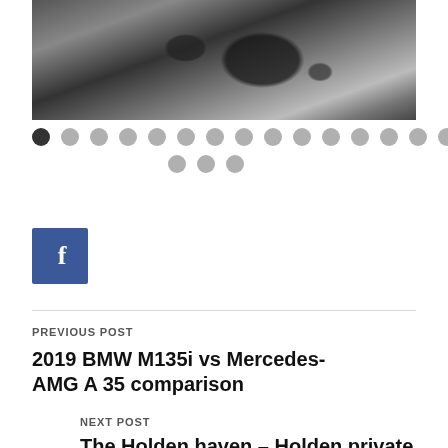[Figure (photo): Black and white photo of a car engine, partially visible, showing mechanical components like hoses, pulleys, and engine block.]
[Figure (other): Carousel dot navigation: one dark active dot followed by 19 lighter grey dots in two rows.]
[Figure (other): Facebook share button: blue square with white 'f' icon.]
PREVIOUS POST
2019 BMW M135i vs Mercedes-AMG A 35 comparison
NEXT POST
The Holden haven – Holden private collection